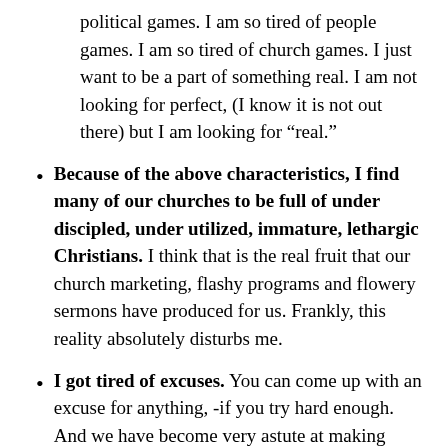political games.  I am so tired of people games.  I am so tired of church games.  I just want to be a part of something real.  I am not looking for perfect, (I know it is not out there) but I am looking for “real.”
Because of the above characteristics, I find many of our churches to be full of under discipled, under utilized, immature, lethargic Christians.  I think that is the real fruit that our church marketing, flashy programs and flowery sermons have produced for us.  Frankly, this reality absolutely disturbs me.
I got tired of excuses.  You can come up with an excuse for anything, -if you try hard enough.  And we have become very astute at making good excuses in the Church.  Our